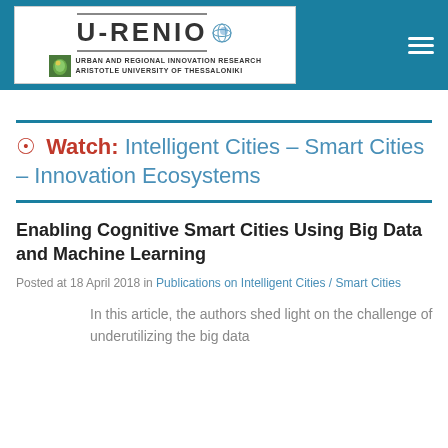[Figure (logo): URENIO logo with globe icon, text 'Urban and Regional Innovation Research, Aristotle University of Thessaloniki', on white background within a teal header bar with hamburger menu icon]
Watch: Intelligent Cities – Smart Cities – Innovation Ecosystems
Enabling Cognitive Smart Cities Using Big Data and Machine Learning
Posted at 18 April 2018 in Publications on Intelligent Cities / Smart Cities
In this article, the authors shed light on the challenge of underutilizing the big data